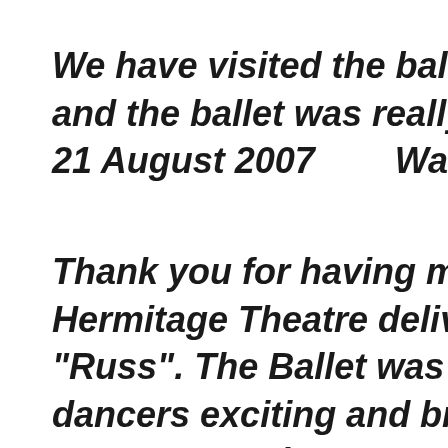We have visited the ballet (the m and the ballet was really great! 21 August 2007        Walter, Aus
Thank you for having my ticket Hermitage Theatre delivered to "Russ". The Ballet was brilliant. dancers exciting and brilliant. T was a great place to enjoy this.